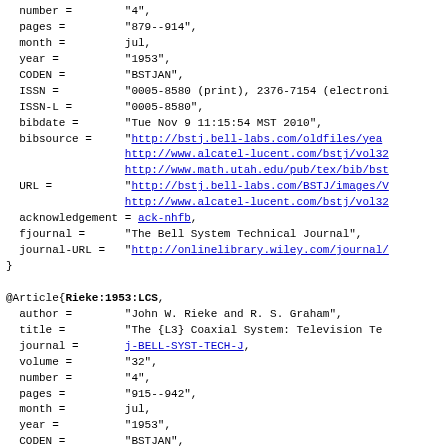BibTeX bibliography entries showing partial records for Bell System Technical Journal articles, including Rieke:1953:LCS entry